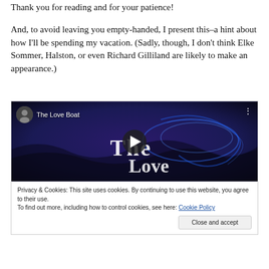Thank you for reading and for your patience!
And, to avoid leaving you empty-handed, I present this–a hint about how I'll be spending my vacation. (Sadly, though, I don't think Elke Sommer, Halston, or even Richard Gilliland are likely to make an appearance.)
[Figure (screenshot): Embedded YouTube video thumbnail for 'The Love Boat' showing a dark blue/purple oceanic background with glowing blue scroll art and the text 'The Love Boat' overlaid. A circular avatar is shown in the top-left, three-dots menu in top-right, and a large play button in the center.]
Privacy & Cookies: This site uses cookies. By continuing to use this website, you agree to their use.
To find out more, including how to control cookies, see here: Cookie Policy
Close and accept